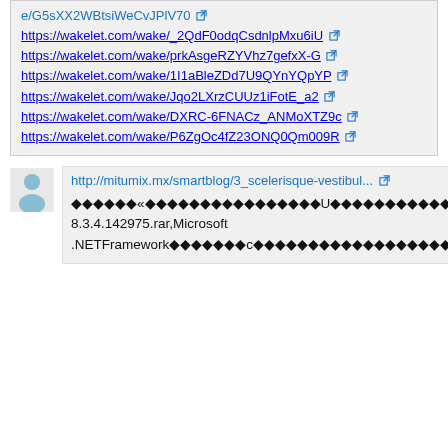e/G5sXX2WBtsiWeCvJPlV70 https://wakelet.com/wake/_2QdF0odqCsdnlpMxu6iU https://wakelet.com/wake/prkAsgeRZYVhz7gefxX-G https://wakelet.com/wake/1I1aBleZDd7U9QYnYQpYP https://wakelet.com/wake/Jqo2LXrzCUUz1iFotE_a2 https://wakelet.com/wake/DXRC-6FNACz_ANMoXTZ9c https://wakelet.com/wake/P6ZgOc4fZ23ONQ0Qm009R
http://mitumix.mx/smartblog/3_scelerisque-vestibul...
◆◆◆◆◆◆«◆◆◆◆◆◆◆◆◆◆◆◆◆◆◆◆U◆◆◆◆◆◆◆◆◆◆◆,Nav N Go iGO 8 8.3.4.142975.rar,Microsoft .NETFramework◆◆◆◆◆◆◆c◆◆◆◆◆◆◆◆◆◆◆◆◆◆◆◆◆◆◆◆◆◆◆◆◆◆◆◆◆◆